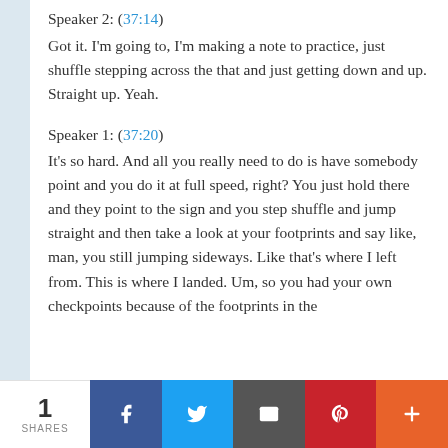Speaker 2: (37:14)
Got it. I'm going to, I'm making a note to practice, just shuffle stepping across the that and just getting down and up. Straight up. Yeah.
Speaker 1: (37:20)
It's so hard. And all you really need to do is have somebody point and you do it at full speed, right? You just hold there and they point to the sign and you step shuffle and jump straight and then take a look at your footprints and say like, man, you still jumping sideways. Like that's where I left from. This is where I landed. Um, so you had your own checkpoints because of the footprints in the
1 SHARES | Facebook | Twitter | Email | Pinterest | More